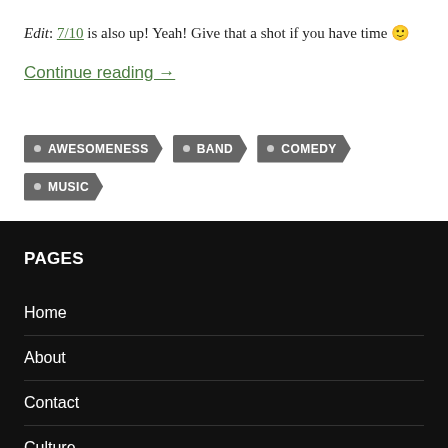Edit: 7/10 is also up! Yeah! Give that a shot if you have time 🙂
Continue reading →
AWESOMENESS
BAND
COMEDY
MUSIC
PAGES
Home
About
Contact
Culture